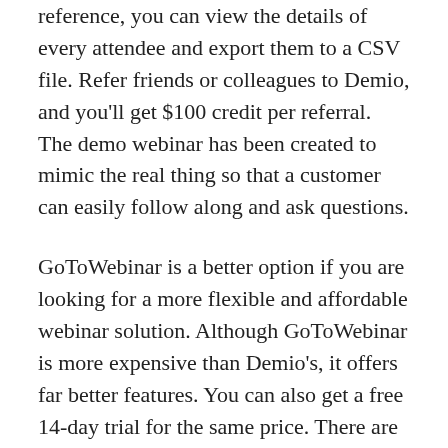reference, you can view the details of every attendee and export them to a CSV file. Refer friends or colleagues to Demio, and you'll get $100 credit per referral. The demo webinar has been created to mimic the real thing so that a customer can easily follow along and ask questions.
GoToWebinar is a better option if you are looking for a more flexible and affordable webinar solution. Although GoToWebinar is more expensive than Demio's, it offers far better features. You can also get a free 14-day trial for the same price. There are also many free web hosting websites. Check out the list of options and compare pricing plans and features for each. You may want to consider these options if